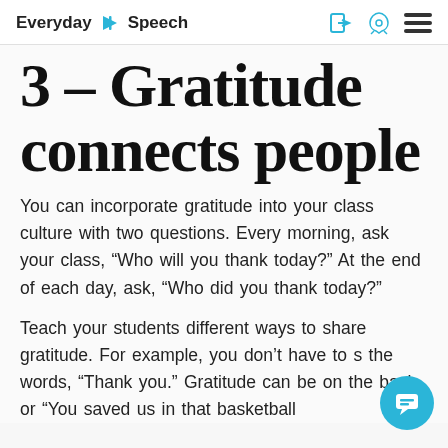Everyday Speech
3 – Gratitude connects people
You can incorporate gratitude into your class culture with two questions. Every morning, ask your class, “Who will you thank today?” At the end of each day, ask, “Who did you thank today?”
Teach your students different ways to share gratitude. For example, you don’t have to s the words, “Thank you.” Gratitude can be on the back or “You saved us in that basketball